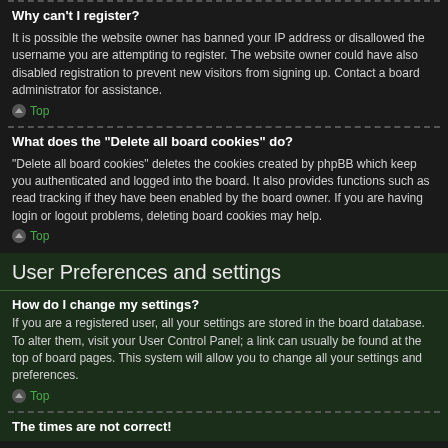Why can't I register?
It is possible the website owner has banned your IP address or disallowed the username you are attempting to register. The website owner could have also disabled registration to prevent new visitors from signing up. Contact a board administrator for assistance.
Top
What does the “Delete all board cookies” do?
“Delete all board cookies” deletes the cookies created by phpBB which keep you authenticated and logged into the board. It also provides functions such as read tracking if they have been enabled by the board owner. If you are having login or logout problems, deleting board cookies may help.
Top
User Preferences and settings
How do I change my settings?
If you are a registered user, all your settings are stored in the board database. To alter them, visit your User Control Panel; a link can usually be found at the top of board pages. This system will allow you to change all your settings and preferences.
Top
The times are not correct!